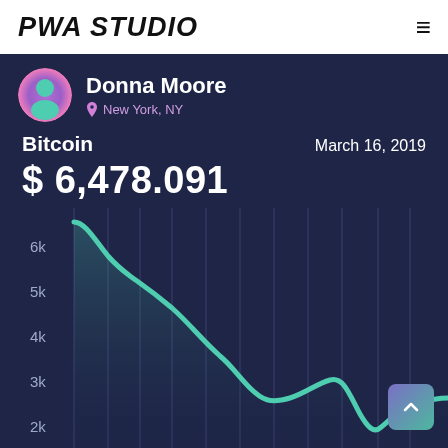PWA STUDIO
[Figure (continuous-plot): Bitcoin price chart showing price decline from ~$6.5k down to ~$3.2k then recovering to ~$4k. Dark navy background with teal/green line and vertical grid lines. Y-axis labels: 6k, 5k, 4k, 3k, 2k. Profile card overlay showing Donna Moore from New York, NY with avatar and Bitcoin price $ 6,478.091 on March 16, 2019.]